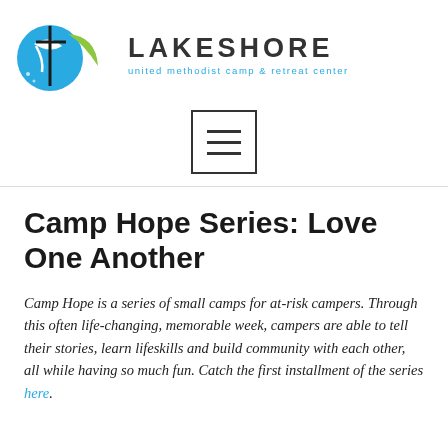[Figure (logo): Lakeshore United Methodist Camp & Retreat Center logo with blue circular fish/wave icon and olive green leaf shape]
LAKESHORE
united methodist camp & retreat center
[Figure (other): Hamburger menu icon inside a rectangular border]
Camp Hope Series: Love One Another
Camp Hope is a series of small camps for at-risk campers. Through this often life-changing, memorable week, campers are able to tell their stories, learn lifeskills and build community with each other, all while having so much fun. Catch the first installment of the series here.